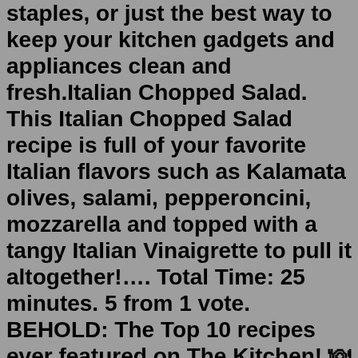staples, or just the best way to keep your kitchen gadgets and appliances clean and fresh.Italian Chopped Salad. This Italian Chopped Salad recipe is full of your favorite Italian flavors such as Kalamata olives, salami, pepperoncini, mozzarella and topped with a tangy Italian Vinaigrette to pull it altogether!…. Total Time: 25 minutes. 5 from 1 vote. BEHOLD: The Top 10 recipes ever featured on The Kitchen! 🍽Which is your favorite?Subscribe http://foodtv.com/YouTubeGet the recipe https://foodtv.com/2Ep... Italian Chopped Salad. This Italian Chopped Salad recipe is full of your favorite Italian flavors such as Kalamata olives, salami, pepperoncini, mozzarella and topped with a tangy Italian Vinaigrette to pull it altogether!…. Total Time: 25 minutes. 5 from 1 vote. Back to Recipes. Budget summer recipes. Thrifty family feasts. Back to How to. Kids' Kitchen series. Kneading dough. Perfect rice.This chicken recipe is loaded with veggies, including onion, celery, and broccoli florets. The cream of chicken soup, milk, sour cream, and cheese